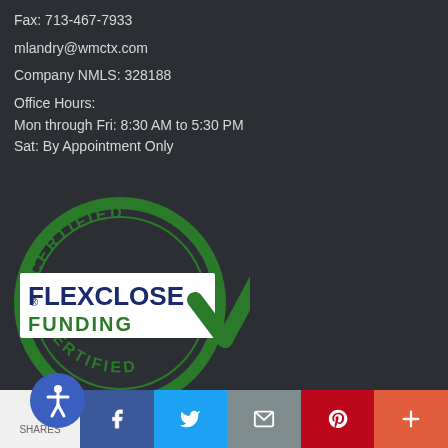Fax: 713-467-7933
mlandry@wmctx.com
Company NMLS: 328188
Office Hours:
Mon through Fri: 8:30 AM to 5:30 PM
Sat: By Appointment Only
[Figure (logo): Certified FlexClose Funding circular stamp logo with a green checkmark]
0 SHARES | Facebook | Twitter | Email | Pinterest | More